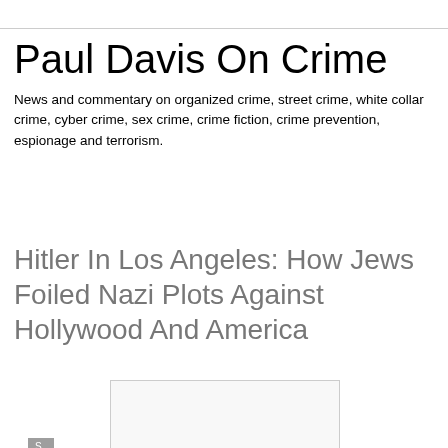Paul Davis On Crime
News and commentary on organized crime, street crime, white collar crime, cyber crime, sex crime, crime fiction, crime prevention, espionage and terrorism.
Sunday, February 11, 2018
Hitler In Los Angeles: How Jews Foiled Nazi Plots Against Hollywood And America
[Figure (photo): Image placeholder, white/light gray rectangle with border]